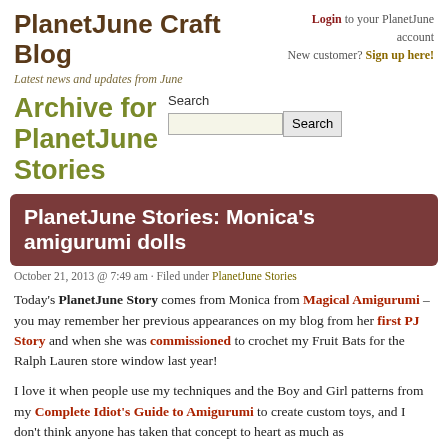PlanetJune Craft Blog
Latest news and updates from June
Login to your PlanetJune account
New customer? Sign up here!
Archive for PlanetJune Stories
Search
PlanetJune Stories: Monica's amigurumi dolls
October 21, 2013 @ 7:49 am · Filed under PlanetJune Stories
Today's PlanetJune Story comes from Monica from Magical Amigurumi – you may remember her previous appearances on my blog from her first PJ Story and when she was commissioned to crochet my Fruit Bats for the Ralph Lauren store window last year!
I love it when people use my techniques and the Boy and Girl patterns from my Complete Idiot's Guide to Amigurumi to create custom toys, and I don't think anyone has taken that concept to heart as much as